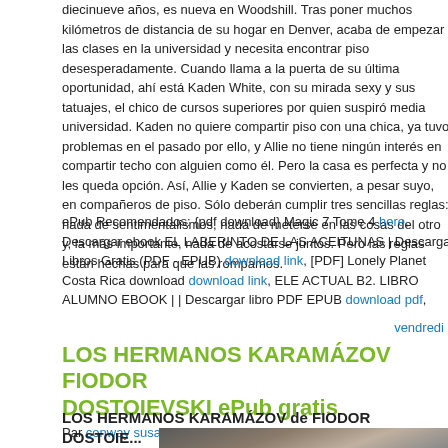diecinueve años, es nueva en Woodshill. Tras poner muchos kilómetros de distancia de su hogar en Denver, acaba de empezar las clases en la universidad y necesita encontrar piso desesperadamente. Cuando llama a la puerta de su última oportunidad, ahí está Kaden White, con su mirada sexy y sus tatuajes, el chico de cursos superiores por quien suspiró media universidad. Kaden no quiere compartir piso con una chica, ya tuvo problemas en el pasado por ello, y Allie no tiene ningún interés en compartir techo con alguien como él. Pero la casa es perfecta y no les queda opción. Así, Allie y Kaden se convierten, a pesar suyo, en compañeros de piso. Sólo deberán cumplir tres sencillas reglas: nada de sentimentalismos, nada de meterse en las cosas del otro y, la más importante, nada de acostarse juntos. Pero las reglas están hechas para que las rompamos.
ePub Recomendados: {pdf download} Magic 7 Tome 4 here, Descargar ebook EL LABERINTO DE LAS ACEITUNAS | Descarga Libros Gratis (PDF - EPUB) download link, [PDF] Lonely Planet Costa Rica download download link, ELE ACTUAL B2. LIBRO ALUMNO EBOOK | | Descargar libro PDF EPUB download pdf,
vendredi
LOS HERMANOS KARAMÁZOV FIODOR DOSTOIEVSKI ePub gratis
Par conway susan le vendredi, mars 4 2022, 02:20
LOS HERMANOS KARAMÁZOV de FIODOR DOSTOIE...
[Figure (photo): A dark interior/room photograph, partially visible at bottom of page]